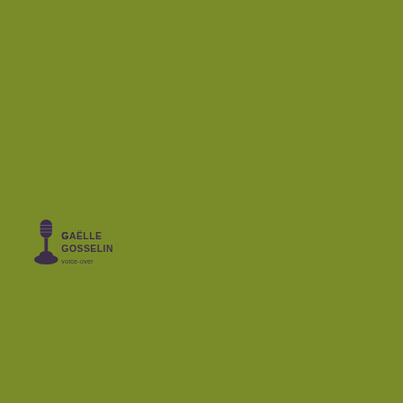[Figure (logo): Gaelle Gosselin voice-over logo: a vintage microphone on a stand with the text 'Gaelle Gosselin voice-over' in dark purple on an olive green background]